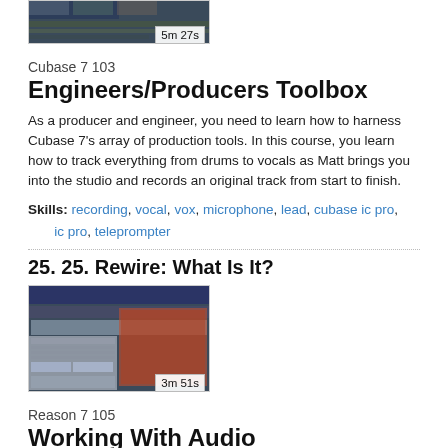[Figure (screenshot): Video thumbnail showing a DAW interface with duration badge '5m 27s']
Cubase 7 103
Engineers/Producers Toolbox
As a producer and engineer, you need to learn how to harness Cubase 7's array of production tools. In this course, you learn how to track everything from drums to vocals as Matt brings you into the studio and records an original track from start to finish.
Skills: recording, vocal, vox, microphone, lead, cubase ic pro, ic pro, teleprompter
25. 25. Rewire: What Is It?
[Figure (screenshot): Video thumbnail showing a DAW/Reason interface with duration badge '3m 51s']
Reason 7 105
Working With Audio
Reason records, processes and samples audio! This tutorial, by expert Hollin Jones, shows you just how seamless working with audio is in Reason.